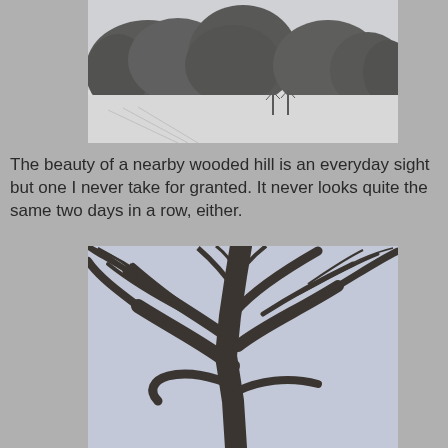[Figure (photo): Winter landscape photo showing a wooded hill with bare trees covered in snow/frost against a grey sky, with a snowy open field in the foreground]
The beauty of a nearby wooded hill is an everyday sight but one I never take for granted. It never looks quite the same two days in a row, either.
[Figure (photo): Looking up through bare winter tree branches against a pale blue-grey sky, showing the intricate branch structure of large trees in winter]